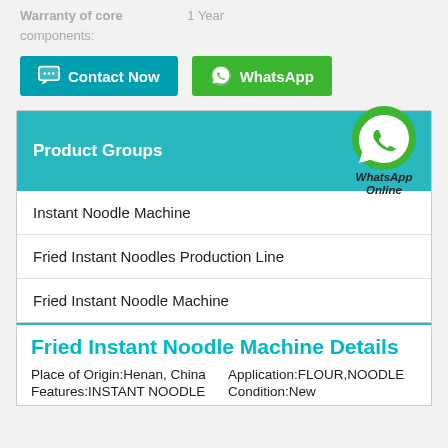Warranty of core components: 1 Year
Contact Now | WhatsApp
Product Groups
Instant Noodle Machine
Fried Instant Noodles Production Line
Fried Instant Noodle Machine
Fried Instant Noodle Machine Details
Place of Origin:Henan, China   Application:FLOUR,NOODLE   Features:INSTANT NOODLE   Condition:New